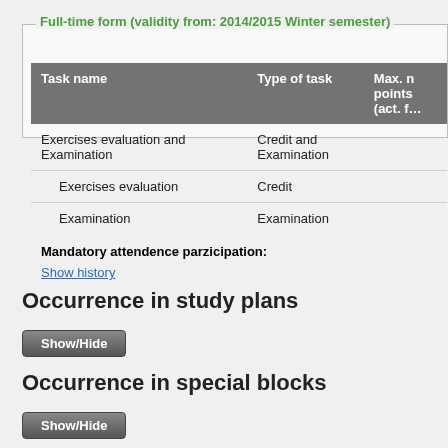Full-time form (validity from: 2014/2015 Winter semester)
| Task name | Type of task | Max. points (act. f…) |
| --- | --- | --- |
| Exercises evaluation and Examination | Credit and Examination |  |
| Exercises evaluation | Credit |  |
| Examination | Examination |  |
Mandatory attendence parzicipation:
Show history
Occurrence in study plans
Show/Hide
Occurrence in special blocks
Show/Hide